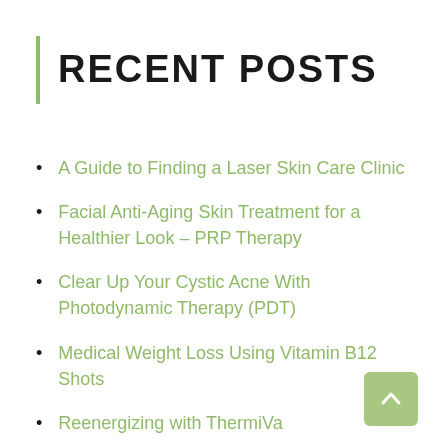RECENT POSTS
A Guide to Finding a Laser Skin Care Clinic
Facial Anti-Aging Skin Treatment for a Healthier Look – PRP Therapy
Clear Up Your Cystic Acne With Photodynamic Therapy (PDT)
Medical Weight Loss Using Vitamin B12 Shots
Reenergizing with ThermiVa